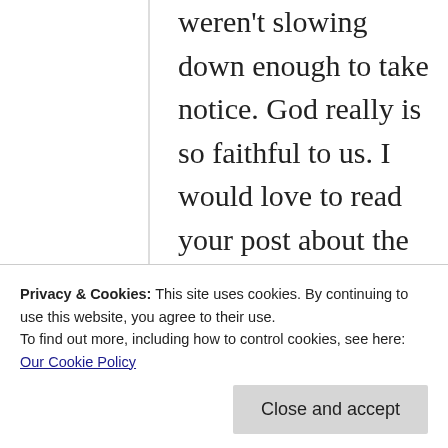weren't slowing down enough to take notice. God really is so faithful to us. I would love to read your post about the heart-shaped potatoes! What a special gift from the Lord. I am so thankful that you are so willing to share your stories with us, my friend. You bring such encouragement to us as
Privacy & Cookies: This site uses cookies. By continuing to use this website, you agree to their use.
To find out more, including how to control cookies, see here: Our Cookie Policy
Close and accept